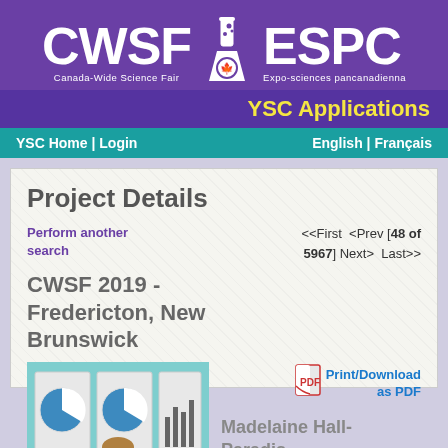[Figure (logo): CWSF | ESPC Canada-Wide Science Fair / Expo-sciences pancanadienna logo with test tube icon]
YSC Applications
YSC Home | Login    English | Français
Project Details
Perform another search
<<First  <Prev [48 of 5967] Next>  Last>>
CWSF 2019 - Fredericton, New Brunswick
[Figure (photo): Photo of student (Madelaine Hall-Paradis) standing in front of a science fair project board with pie charts]
[Figure (logo): PDF icon for Print/Download as PDF]
Print/Download as PDF
Madelaine Hall-Paradis